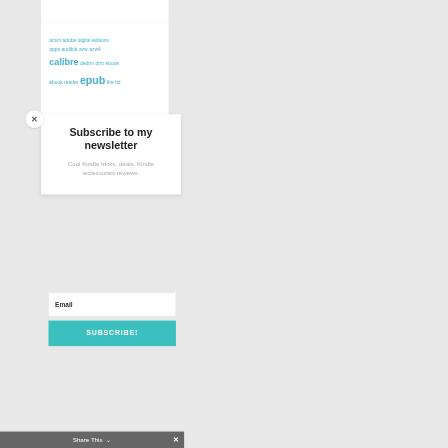acsm adobe digital editions apps audible azw azw4 calibre dedrm drm ebook ebook reader epub fire hd
[Figure (screenshot): Close button - circular white button with X]
Subscribe to my newsletter
Cool Kindle tricks, deals, Kindle accessories reviews.
Email
SUBSCRIBE!
Share This  ✕